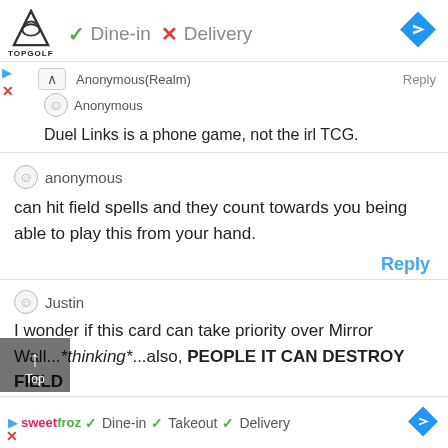[Figure (screenshot): Advertisement banner for Topgolf showing Dine-in (check) and Delivery (X) options with navigation arrow icon]
Anonymous(Realm)
Anonymous
Duel Links is a phone game, not the irl TCG.
anonymous
can hit field spells and they count towards you being able to play this from your hand.
Reply
Justin
I wonder if this card can take priority over Mirror Wall...*thinking*...also, PEOPLE IT CAN DESTROY FIELD SPELLS d zone.
But ago... d rod.
[Figure (screenshot): Bottom advertisement for SweetFroz showing Dine-in, Takeout, Delivery options with navigation arrow]